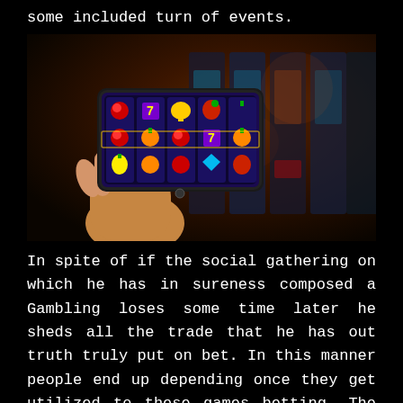some included turn of events.
[Figure (photo): A hand holding a smartphone displaying a slot machine game app, with real casino slot machines in the background (blurred), set against a dark background.]
In spite of if the social gathering on which he has in sureness composed a Gambling loses some time later he sheds all the trade that he has out truth truly put on bet. In this manner people end up depending once they get utilized to these games betting. The standard social orders that depend on these home selections consider the changed kind of